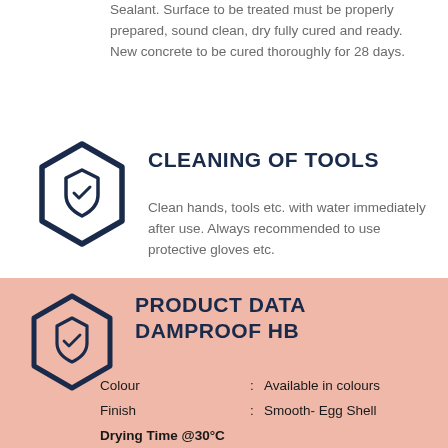Sealant. Surface to be treated must be properly prepared, sound clean, dry fully cured and ready. New concrete to be cured thoroughly for 28 days.
CLEANING OF TOOLS
Clean hands, tools etc. with water immediately after use. Always recommended to use protective gloves etc.
PRODUCT DATA DAMPROOF HB
| Property |  | Value |
| --- | --- | --- |
| Colour | : | Available in colours |
| Finish | : | Smooth- Egg Shell |
| Drying Time @30°C |  |  |